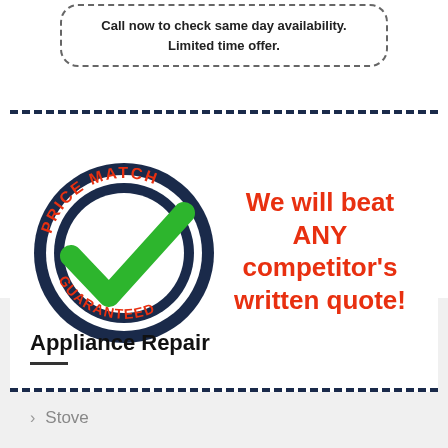Call now to check same day availability. Limited time offer.
[Figure (logo): Price Match Guaranteed circular badge with green checkmark and red text, alongside red bold text: We will beat ANY competitor's written quote!]
Appliance Repair
Stove